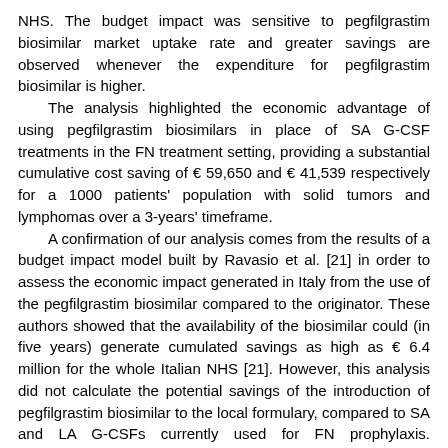NHS. The budget impact was sensitive to pegfilgrastim biosimilar market uptake rate and greater savings are observed whenever the expenditure for pegfilgrastim biosimilar is higher.
    The analysis highlighted the economic advantage of using pegfilgrastim biosimilars in place of SA G-CSF treatments in the FN treatment setting, providing a substantial cumulative cost saving of € 59,650 and € 41,539 respectively for a 1000 patients' population with solid tumors and lymphomas over a 3-years' timeframe.
    A confirmation of our analysis comes from the results of a budget impact model built by Ravasio et al. [21] in order to assess the economic impact generated in Italy from the use of the pegfilgrastim biosimilar compared to the originator. These authors showed that the availability of the biosimilar could (in five years) generate cumulated savings as high as € 6.4 million for the whole Italian NHS [21]. However, this analysis did not calculate the potential savings of the introduction of pegfilgrastim biosimilar to the local formulary, compared to SA and LA G-CSFs currently used for FN prophylaxis. Additionally, the budget impact built by Ravasio et al. did not consider the effect that any regional or local tenders could exercise on the price of biosimilar and originator pegfilgrastim and costs of patient management including hospitalization and ambulatory care.
    Our findings are in line with the cost savings observed across EU markets and the US switching from the reference product to